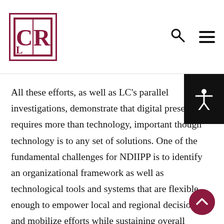CLR logo with navigation search and menu icons
All these efforts, as well as LC's parallel investigations, demonstrate that digital preservation requires more than technology, important though technology is to any set of solutions. One of the fundamental challenges for NDIIPP is to identify an organizational framework as well as technological tools and systems that are flexible enough to empower local and regional decisions and mobilize efforts while sustaining overall coherence. The massive scale of digital information and the complexities surrounding it mandate cooperation among